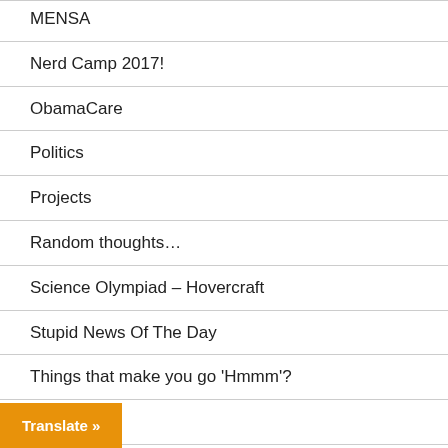MENSA
Nerd Camp 2017!
ObamaCare
Politics
Projects
Random thoughts…
Science Olympiad – Hovercraft
Stupid News Of The Day
Things that make you go 'Hmmm'?
Union thugs
Useless trivial
Translate »